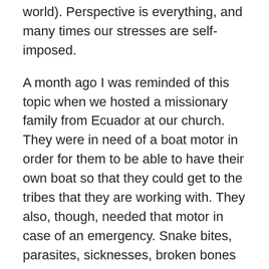world). Perspective is everything, and many times our stresses are self-imposed.
A month ago I was reminded of this topic when we hosted a missionary family from Ecuador at our church. They were in need of a boat motor in order for them to be able to have their own boat so that they could get to the tribes that they are working with. They also, though, needed that motor in case of an emergency. Snake bites, parasites, sicknesses, broken bones – all of these and more are realities that can happen when living in the rain forest, especially when you have a bunch of curious and active children. This boat motor is a simple way that we as a church can reduce the stress of our missionary family on the field. I am happy to report that we were able to raise enough money to more than cover the cost of the motor.